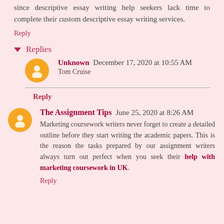since descriptive essay writing help seekers lack time to complete their custom descriptive essay writing services.
Reply
Replies
Unknown  December 17, 2020 at 10:55 AM
Tom Cruise
Reply
The Assignment Tips  June 25, 2020 at 8:26 AM
Marketing coursework writers never forget to create a detailed outline before they start writing the academic papers. This is the reason the tasks prepared by our assignment writers always turn out perfect when you seek their help with marketing coursework in UK.
Reply